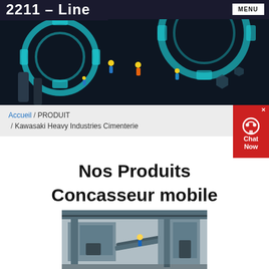2211 – Line
[Figure (photo): Industrial banner image showing miniature workers on gears and mechanical parts with teal/dark lighting]
Accueil / PRODUIT / Kawasaki Heavy Industries Cimenterie
[Figure (screenshot): Red chat widget with headset icon, close button and Chat Now label]
Nos Produits
Concasseur mobile
[Figure (photo): Industrial mobile crusher machinery in a factory/plant setting]